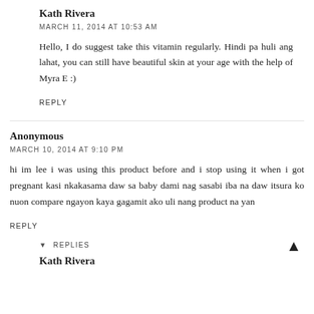Kath Rivera
MARCH 11, 2014 AT 10:53 AM
Hello, I do suggest take this vitamin regularly. Hindi pa huli ang lahat, you can still have beautiful skin at your age with the help of Myra E :)
REPLY
Anonymous
MARCH 10, 2014 AT 9:10 PM
hi im lee i was using this product before and i stop using it when i got pregnant kasi nkakasama daw sa baby dami nag sasabi iba na daw itsura ko nuon compare ngayon kaya gagamit ako uli nang product na yan
REPLY
▾  REPLIES
Kath Rivera